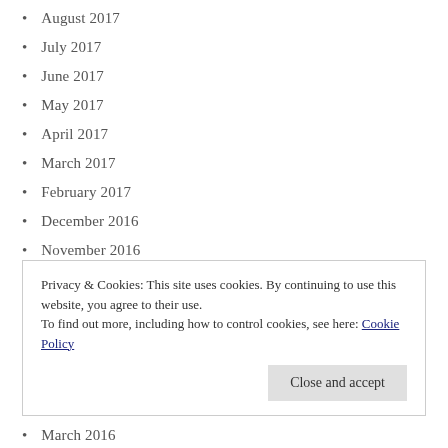August 2017
July 2017
June 2017
May 2017
April 2017
March 2017
February 2017
December 2016
November 2016
October 2016
September 2016
Privacy & Cookies: This site uses cookies. By continuing to use this website, you agree to their use.
To find out more, including how to control cookies, see here: Cookie Policy
March 2016